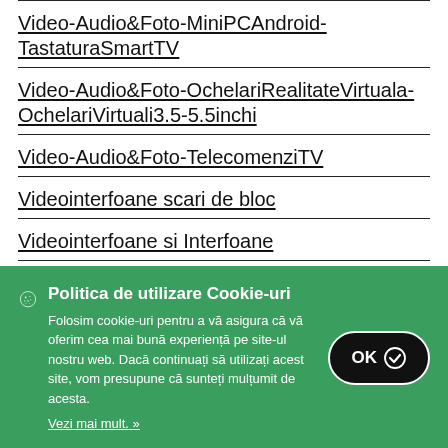Video-Audio&Foto-MiniPCAndroid-TastaturaSmart TV
Video-Audio&Foto-OchelariRealitateVirtuala-OchelariVirtuali3.5-5.5inchi
Video-Audio&Foto-TelecomenziTV
Videointerfoane scari de bloc
Videointerfoane si Interfoane
Politica de utilizare Cookie-uri
Folosim cookie-uri pentru a vă asigura că vă oferim cea mai bună experiență pe site-ul nostru web. Dacă continuați să utilizați acest site, vom presupune că sunteți mulțumit de acesta.
Vezi mai mult. »